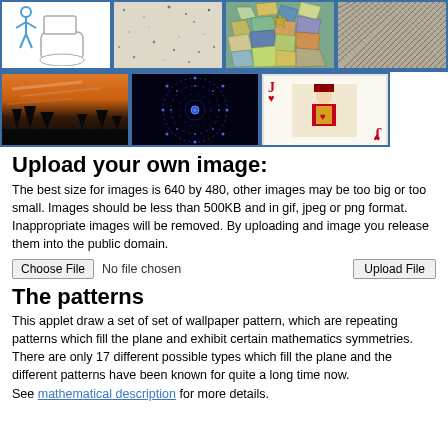[Figure (photo): Grid of sample images: top row has toilet icon, speckled texture, colorful mosaic tile, herringbone pattern; bottom row has sunset sky photo, circular mandala on black background, Jack of hearts playing card]
Upload your own image:
The best size for images is 640 by 480, other images may be too big or too small. Images should be less than 500KB and in gif, jpeg or png format. Inappropriate images will be removed. By uploading and image you release them into the public domain.
Choose File   No file chosen     Upload File
The patterns
This applet draw a set of set of wallpaper pattern, which are repeating patterns which fill the plane and exhibit certain mathematics symmetries. There are only 17 different possible types which fill the plane and the different patterns have been known for quite a long time now.
See mathematical description for more details.